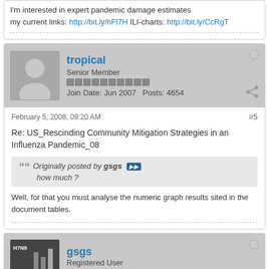I'm interested in expert pandemic damage estimates
my current links: http://bit.ly/hFl7H ILI-charts: http://bit.ly/CcRgT
tropical
Senior Member
Join Date: Jun 2007   Posts: 4654
February 5, 2008, 09:20 AM
#5
Re: US_Rescinding Community Mitigation Strategies in an Influenza Pandemic_08
Originally posted by gsgs
how much ?
Well, for that you must analyse the numeric graph results sited in the document tables.
gsgs
Registered User